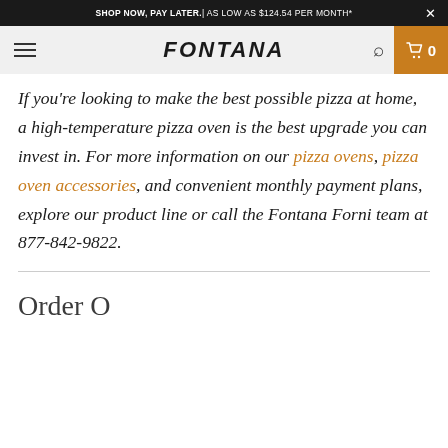SHOP NOW, PAY LATER. | AS LOW AS $124.54 PER MONTH*
[Figure (screenshot): Fontana website navigation bar with hamburger menu, FONTANA logo, search icon, and shopping cart showing 0 items]
If you're looking to make the best possible pizza at home, a high-temperature pizza oven is the best upgrade you can invest in. For more information on our pizza ovens, pizza oven accessories, and convenient monthly payment plans, explore our product line or call the Fontana Forni team at 877-842-9822.
Order O